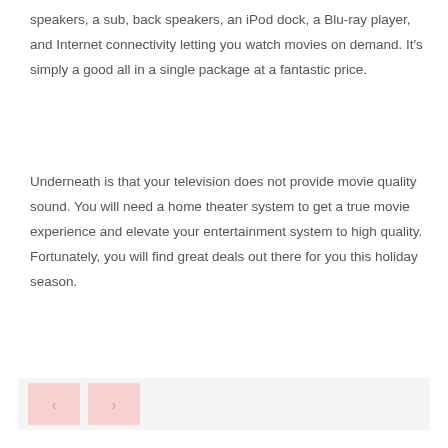speakers, a sub, back speakers, an iPod dock, a Blu-ray player, and Internet connectivity letting you watch movies on demand. It's simply a good all in a single package at a fantastic price.
Underneath is that your television does not provide movie quality sound. You will need a home theater system to get a true movie experience and elevate your entertainment system to high quality. Fortunately, you will find great deals out there for you this holiday season.